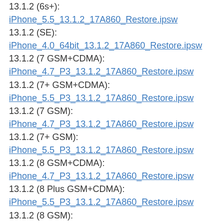13.1.2 (6s+):
iPhone_5.5_13.1.2_17A860_Restore.ipsw
13.1.2 (SE):
iPhone_4.0_64bit_13.1.2_17A860_Restore.ipsw
13.1.2 (7 GSM+CDMA):
iPhone_4.7_P3_13.1.2_17A860_Restore.ipsw
13.1.2 (7+ GSM+CDMA):
iPhone_5.5_P3_13.1.2_17A860_Restore.ipsw
13.1.2 (7 GSM):
iPhone_4.7_P3_13.1.2_17A860_Restore.ipsw
13.1.2 (7+ GSM):
iPhone_5.5_P3_13.1.2_17A860_Restore.ipsw
13.1.2 (8 GSM+CDMA):
iPhone_4.7_P3_13.1.2_17A860_Restore.ipsw
13.1.2 (8 Plus GSM+CDMA):
iPhone_5.5_P3_13.1.2_17A860_Restore.ipsw
13.1.2 (8 GSM):
iPhone_4.7_P3_13.1.2_17A860_Restore.ipsw